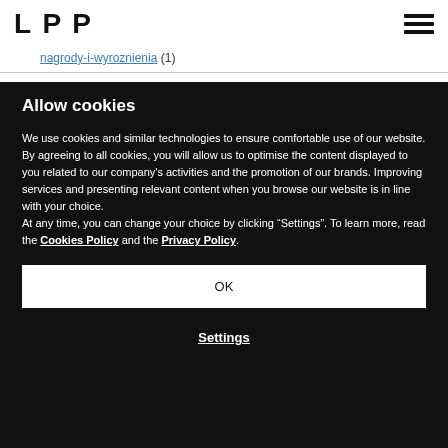LPP
nagrody-i-wyroznienia (1)
Allow cookies
We use cookies and similar technologies to ensure comfortable use of our website. By agreeing to all cookies, you will allow us to optimise the content displayed to you related to our company's activities and the promotion of our brands. Improving services and presenting relevant content when you browse our website is in line with your choice. At any time, you can change your choice by clicking “Settings”. To learn more, read the Cookies Policy and the Privacy Policy.
OK
Settings